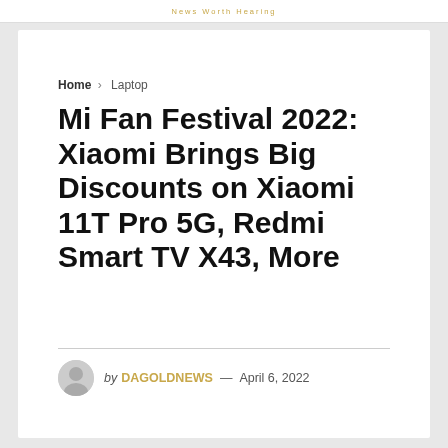News Worth Hearing
Home > Laptop
Mi Fan Festival 2022: Xiaomi Brings Big Discounts on Xiaomi 11T Pro 5G, Redmi Smart TV X43, More
by DAGOLDNEWS — April 6, 2022